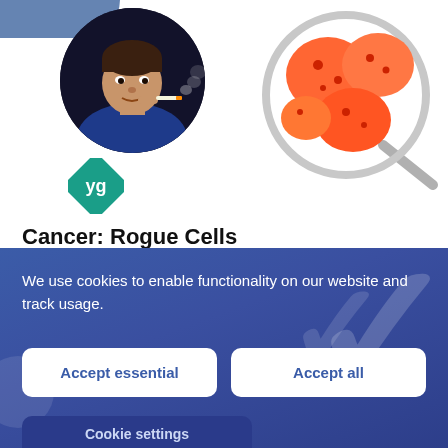[Figure (photo): Circular portrait photo of a man in a blue shirt appearing to smoke or exhale, dark background]
[Figure (illustration): Medical illustration of orange/red cancer cells under a magnifying glass on white background]
[Figure (logo): Green diamond-shaped logo with white letters 'yg']
Cancer: Rogue Cells
This animation describes how cancer grows within the body and how different factors can lead to
We use cookies to enable functionality on our website and track usage.
Accept essential
Accept all
Cookie settings